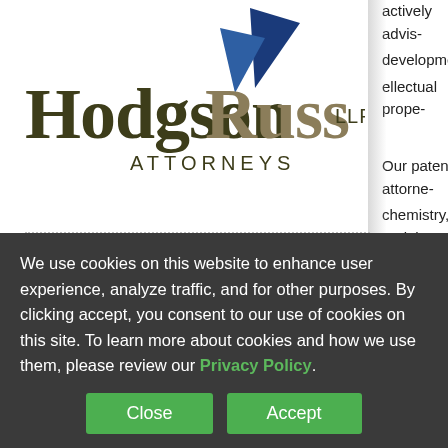[Figure (logo): Hodgson Russ LLP Attorneys logo with blue arrow/chevron mark above text]
WHY US
PROFESSIONALS
actively advising development intellectual prope
Our patent attorne chemistry, and the holding advanced have experience t fields that include microelectronics, technology, autom and life sciences.
We use cookies on this website to enhance user experience, analyze traffic, and for other purposes. By clicking accept, you consent to our use of cookies on this site. To learn more about cookies and how we use them, please review our Privacy Policy.